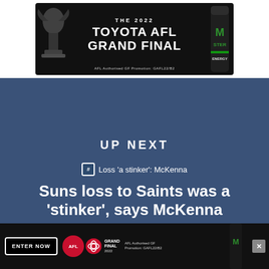[Figure (screenshot): Dark advertisement banner for the 2022 Toyota AFL Grand Final with trophy silhouette on left and Monster energy drink can on right. White bold text reads 'THE 2022 TOYOTA AFL GRAND FINAL'. Small text at bottom: 'AFL Authorised GF Promotion: GAFL22/B2']
UP NEXT
# Loss 'a stinker': McKenna
Suns loss to Saints was a 'stinker', says McKenna
[Figure (screenshot): Bottom advertisement bar for 2022 Toyota AFL Grand Final. Black background with 'ENTER NOW' button, AFL and Toyota logos, and text 'AFL Authorised GF Promotion: GAFL22/B2'. Close X button on far right.]